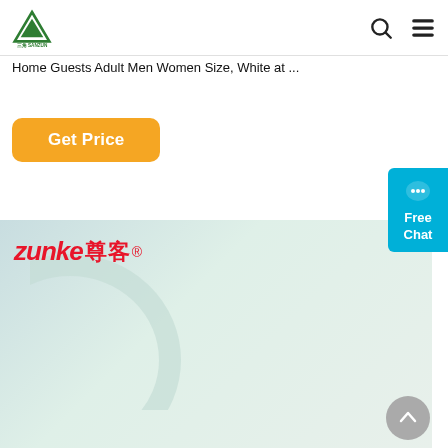[Figure (logo): Sanzun company logo — green triangle arrow mark with 三角 SANZUN text below]
Home Guests Adult Men Women Size, White at ...
Get Price
[Figure (photo): Zunke (尊客) brand header with four hotel amenity bottles: Shampoo, Bath Gel, Body Lotion, Conditioner — 悦诗兰庭 brand, displayed on light teal/green gradient background]